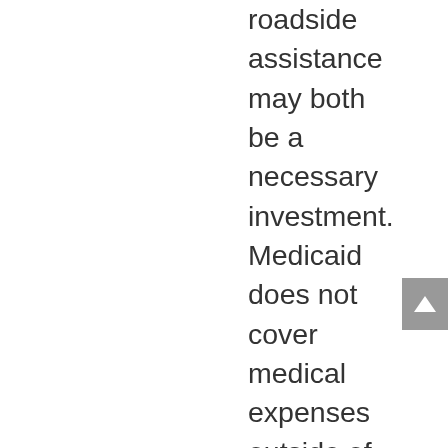roadside assistance may both be a necessary investment. Medicaid does not cover medical expenses outside of one's state and insurance plans do not cross country borders. No one expects the worst to happen but planning for exactly that can give every traveler peace of mind. Another safety net that can give every traveler on the road peace of mind is investing in roadside assistance. For people who use wheelchairs, Mobility Roadside Assistance (MRA) may just be the way to go. In the midst of your car breaking down, not only does MRA ensure that your car gets to where it needs to go but you and